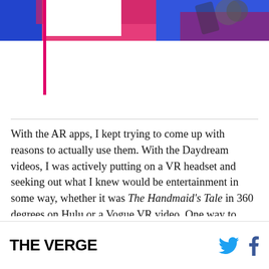[Figure (photo): Colorful abstract header image with blue, red, and pink tones, partially cropped, with a white rectangle overlay on the left side.]
With the AR apps, I kept trying to come up with reasons to actually use them. With the Daydream videos, I was actively putting on a VR headset and seeking out what I knew would be entertainment in some way, whether it was The Handmaid's Tale in 360 degrees on Hulu or a Vogue VR video. One way to look at it is that I was actively seeking a passive experience, as opposed to trying to shoehorn an AR app into a daily workflow that
THE VERGE